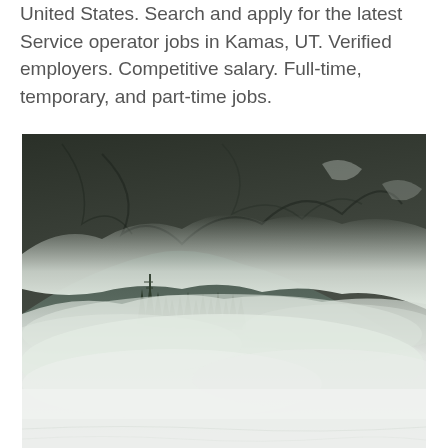United States. Search and apply for the latest Service operator jobs in Kamas, UT. Verified employers. Competitive salary. Full-time, temporary, and part-time jobs.
[Figure (photo): A misty mountain landscape with fog rolling over dark conifer trees in the foreground and a rocky mountain face in the background. Dense white mist obscures the lower portion of the scene.]